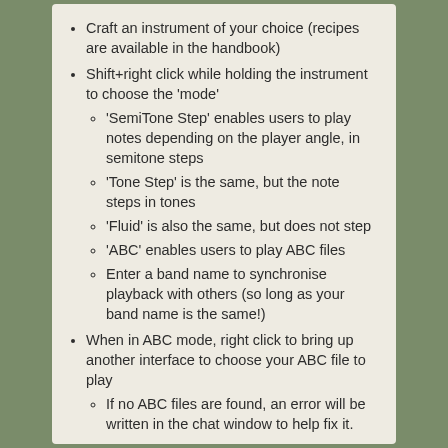Craft an instrument of your choice (recipes are available in the handbook)
Shift+right click while holding the instrument to choose the 'mode'
'SemiTone Step' enables users to play notes depending on the player angle, in semitone steps
'Tone Step' is the same, but the note steps in tones
'Fluid' is also the same, but does not step
'ABC' enables users to play ABC files
Enter a band name to synchronise playback with others (so long as your band name is the same!)
When in ABC mode, right click to bring up another interface to choose your ABC file to play
If no ABC files are found, an error will be written in the chat window to help fix it.